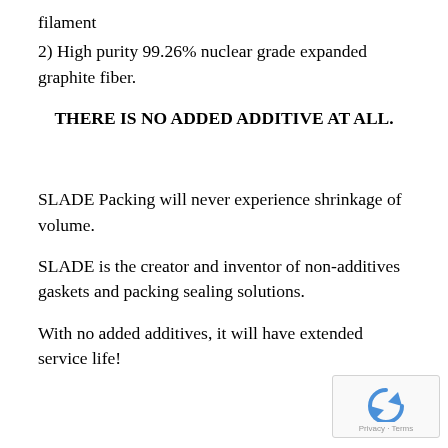filament
2) High purity 99.26% nuclear grade expanded graphite fiber.
THERE IS NO ADDED ADDITIVE AT ALL.
SLADE Packing will never experience shrinkage of volume.
SLADE is the creator and inventor of non-additives gaskets and packing sealing solutions.
With no added additives, it will have extended service life!